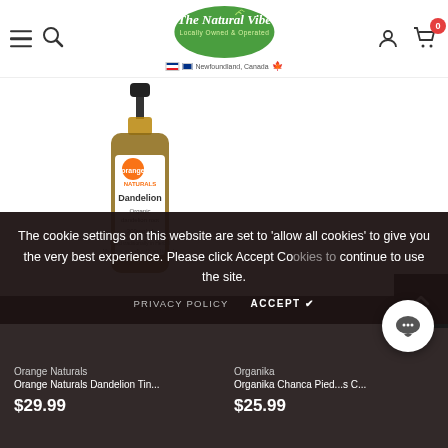The Natural Vibe — Locally Owned & Operated, Newfoundland, Canada
[Figure (photo): Orange Naturals Dandelion tincture bottle with dropper, amber glass bottle with white label showing orange logo and Dandelion text]
The cookie settings on this website are set to 'allow all cookies' to give you the very best experience. Please click Accept Cookies to continue to use the site.
PRIVACY POLICY   ACCEPT ✔
Orange Naturals
Orange Naturals Dandelion Tin...
$29.99
Organika
Organika Chanca Pied...s C...
$25.99